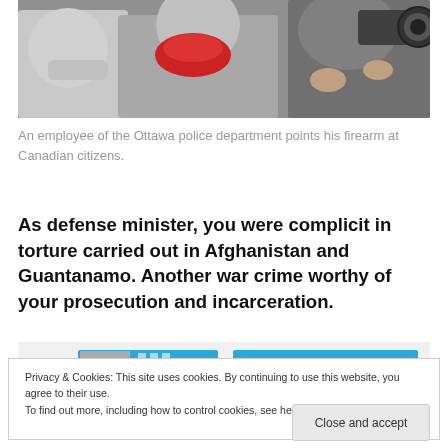[Figure (photo): Group of people including photographers with cameras and a person in a red jacket, viewed from behind, in a crowd scene.]
An employee of the Ottawa police department points his firearm at Canadian citizens.
As defense minister, you were complicit in torture carried out in Afghanistan and Guantanamo. Another war crime worthy of your prosecution and incarceration.
[Figure (screenshot): Partial screenshot showing blue navigation/header elements of a website.]
Privacy & Cookies: This site uses cookies. By continuing to use this website, you agree to their use.
To find out more, including how to control cookies, see here: Cookie Policy
Close and accept